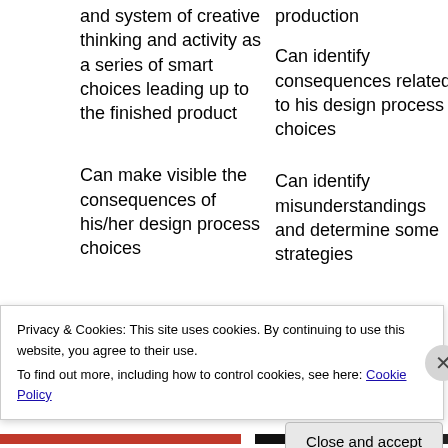and system of creative thinking and activity as a series of smart choices leading up to the finished product
production
Can identify consequences related to his design process choices
Can make visible the consequences of his/her design process choices
Can identify misunderstandings and determine some strategies
Privacy & Cookies: This site uses cookies. By continuing to use this website, you agree to their use. To find out more, including how to control cookies, see here: Cookie Policy